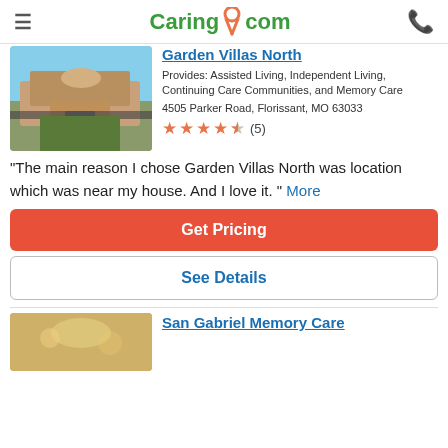Caring.com
Garden Villas North
Provides: Assisted Living, Independent Living, Continuing Care Communities, and Memory Care
4505 Parker Road, Florissant, MO 63033
★★★★½ (5)
"The main reason I chose Garden Villas North was location which was near my house. And I love it. " More
Get Pricing
See Details
San Gabriel Memory Care